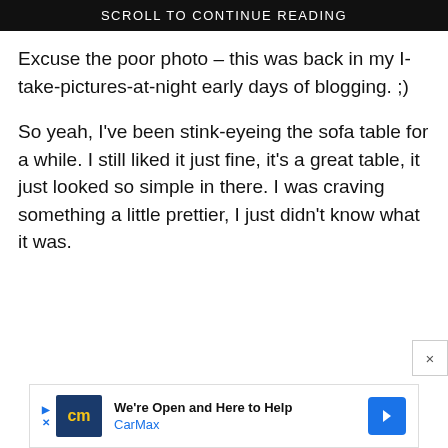SCROLL TO CONTINUE READING
Excuse the poor photo – this was back in my I-take-pictures-at-night early days of blogging. ;)
So yeah, I've been stink-eyeing the sofa table for a while. I still liked it just fine, it's a great table, it just looked so simple in there. I was craving something a little prettier, I just didn't know what it was.
[Figure (other): CarMax advertisement banner: 'We're Open and Here to Help, CarMax' with logo and arrow icons]